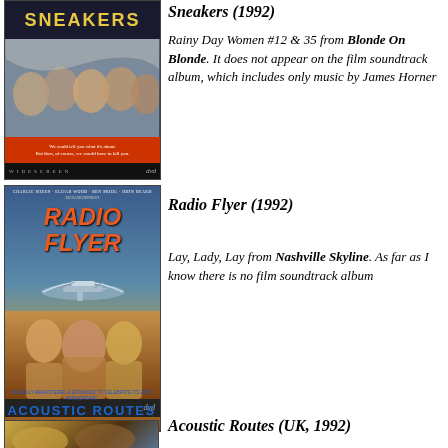[Figure (photo): DVD cover of Sneakers (1992) showing cast faces and movie title in yellow on dark background with red band]
Sneakers (1992)
Rainy Day Women #12 & 35 from Blonde On Blonde. It does not appear on the film soundtrack album, which includes only music by James Horner
[Figure (photo): DVD cover of Radio Flyer (1992) showing the movie title in orange italic text with a biplane and children/family in foreground]
Radio Flyer (1992)
Lay, Lady, Lay from Nashville Skyline. As far as I know there is no film soundtrack album
[Figure (photo): DVD cover of Acoustic Routes (UK, 1992) with banner text at top and blue ACOUSTIC ROUTES title]
Acoustic Routes (UK, 1992)